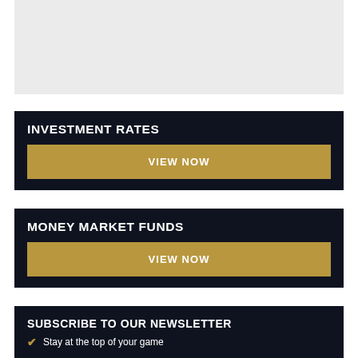[Figure (other): Gray placeholder box at top of page]
INVESTMENT RATES
VIEW NOW
MONEY MARKET FUNDS
VIEW NOW
SUBSCRIBE TO OUR NEWSLETTER
Stay at the top of your game